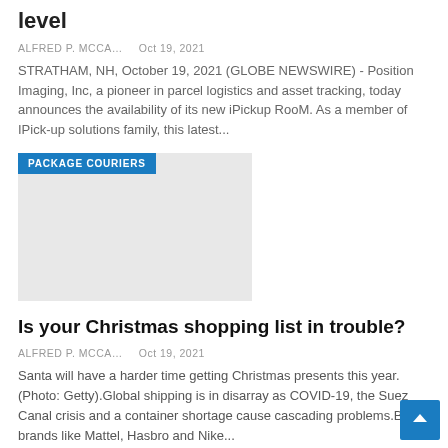level
ALFRED P. MCCA…    Oct 19, 2021
STRATHAM, NH, October 19, 2021 (GLOBE NEWSWIRE) - Position Imaging, Inc, a pioneer in parcel logistics and asset tracking, today announces the availability of its new iPickup RooM. As a member of IPick-up solutions family, this latest...
[Figure (photo): Image block with PACKAGE COURIERS tag badge, light grey placeholder image]
Is your Christmas shopping list in trouble?
ALFRED P. MCCA…    Oct 19, 2021
Santa will have a harder time getting Christmas presents this year. (Photo: Getty).Global shipping is in disarray as COVID-19, the Suez Canal crisis and a container shortage cause cascading problems.Big brands like Mattel, Hasbro and Nike...